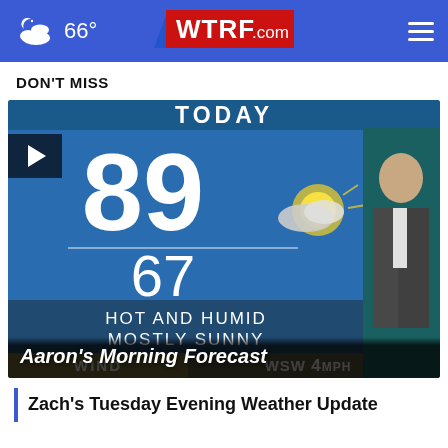66° WTRF.com
DON'T MISS
[Figure (screenshot): Weather forecast video thumbnail showing 'TODAY' header, temperature 89/67, 'HOT AND HUMID MOSTLY SUNNY', WIND WSW 4MPH, with a meteorologist on screen. Play button visible in top-left corner.]
Aaron's Morning Forecast
Zach's Tuesday Evening Weather Update